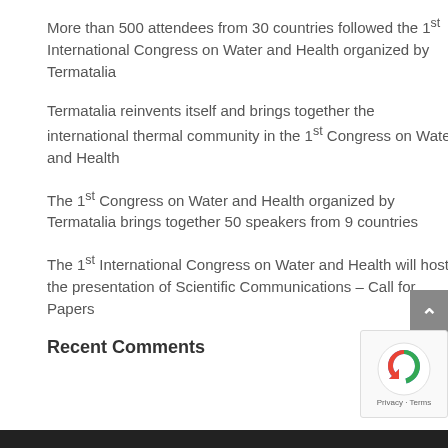More than 500 attendees from 30 countries followed the 1st International Congress on Water and Health organized by Termatalia
Termatalia reinvents itself and brings together the international thermal community in the 1st Congress on Water and Health
The 1st Congress on Water and Health organized by Termatalia brings together 50 speakers from 9 countries
The 1st International Congress on Water and Health will host the presentation of Scientific Communications – Call for Papers
Recent Comments